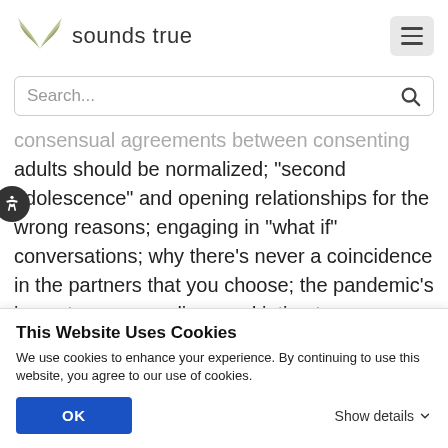sounds true
consensual agreements between consenting adults should be normalized; “second adolescence” and opening relationships for the wrong reasons; engaging in “what if” conversations; why there’s never a coincidence in the partners that you choose; the pandemic’s impact on our sex lives and intimate
This Website Uses Cookies
We use cookies to enhance your experience. By continuing to use this website, you agree to our use of cookies.
OK
Show details